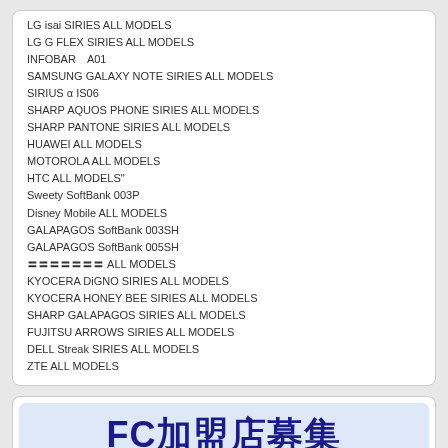LG isai SIRIES ALL MODELS
LG G FLEX SIRIES ALL MODELS
INFOBAR　A01
SAMSUNG GALAXY NOTE SIRIES ALL MODELS
SIRIUS α IS06
SHARP AQUOS PHONE SIRIES ALL MODELS
SHARP PANTONE SIRIES ALL MODELS
HUAWEI ALL MODELS
MOTOROLA ALL MODELS
HTC ALL MODELS"
Sweety SoftBank 003P
Disney Mobile ALL MODELS
GALAPAGOS SoftBank 003SH
GALAPAGOS SoftBank 005SH
〓〓〓〓〓〓〓 ALL MODELS
KYOCERA DiGNO SIRIES ALL MODELS
KYOCERA HONEY BEE SIRIES ALL MODELS
SHARP GALAPAGOS SIRIES ALL MODELS
FUJITSU ARROWS SIRIES ALL MODELS
DELL Streak SIRIES ALL MODELS
ZTE ALL MODELS
[Figure (illustration): FC加盟店募集 banner with Japanese text: FC加盟店募集 (FC franchise store recruitment) and iPhone修理で独立開業 (Independent business opening with iPhone repair), with blue circles at the bottom and reCAPTCHA badge overlay]